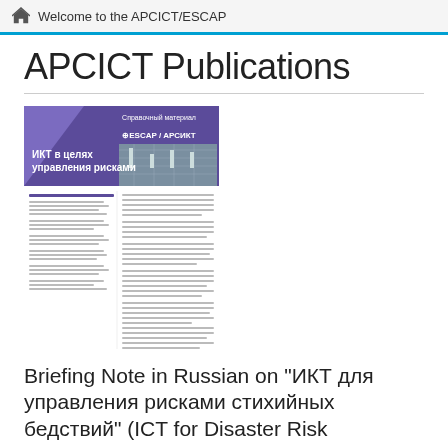Welcome to the APCICT/ESCAP
APCICT Publications
[Figure (illustration): Thumbnail cover of a Russian-language briefing note titled 'ИКТ в целях управления рисками' (ICT for Disaster Risk Management), published by ESCAP/APCICT. The cover features a purple/blue geometric design, a cityscape image, and Russian text content inside.]
Briefing Note in Russian on "ИКТ для управления рисками стихийных бедствий" (ICT for Disaster Risk Management)
31st Dec 2020